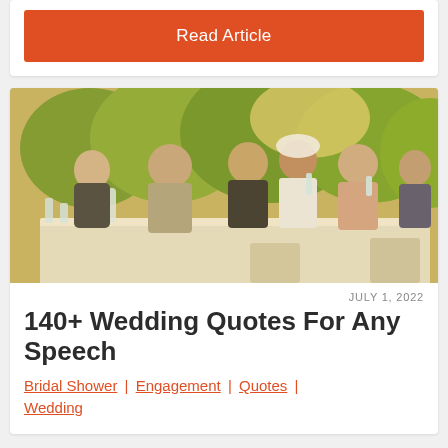Read Article
[Figure (photo): Wedding reception outdoor scene with bride, groom, and guests seated at a table with glasses raised, surrounded by greenery]
JULY 1, 2022
140+ Wedding Quotes For Any Speech
Bridal Shower | Engagement | Quotes | Wedding